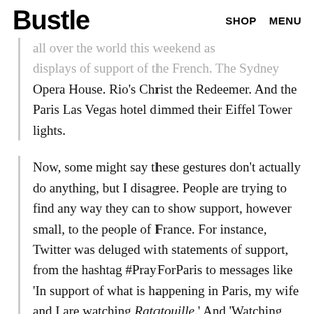Bustle  SHOP  MENU
all over the world this weekend as displays of support of the French. The Sydney Opera House. Rio’s Christ the Redeemer. And the Paris Las Vegas hotel dimmed their Eiffel Tower lights.
Now, some might say these gestures don’t actually do anything, but I disagree. People are trying to find any way they can to show support, however small, to the people of France. For instance, Twitter was deluged with statements of support, from the hashtag #PrayForParis to messages like ‘In support of what is happening in Paris, my wife and I are watching Ratatouille.’ And ‘Watching Ratatouille to honor all the citizens of Paris.’ Is that wrong? No. Is Ratatouille